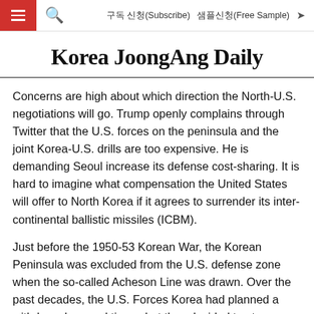구독 신청(Subscribe)   샘플신청(Free Sample)
Korea JoongAng Daily
Concerns are high about which direction the North-U.S. negotiations will go. Trump openly complains through Twitter that the U.S. forces on the peninsula and the joint Korea-U.S. drills are too expensive. He is demanding Seoul increase its defense cost-sharing. It is hard to imagine what compensation the United States will offer to North Korea if it agrees to surrender its inter-continental ballistic missiles (ICBM).
Just before the 1950-53 Korean War, the Korean Peninsula was excluded from the U.S. defense zone when the so-called Acheson Line was drawn. Over the past decades, the U.S. Forces Korea had planned a withdrawal several times, but they decided to stay because of Japan. If Japan amends its Constitution and rearms, the situation could be different. Actually, the current situation can